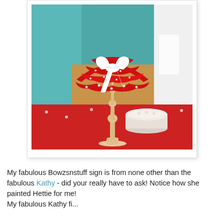[Figure (photo): A decorative lamp with a red and white polka-dot ruffled fabric shade tied with a white satin bow, on a turned wooden base, sitting on a red polka-dot surface. A white cylindrical hat box or pin cushion is visible next to the base. Background shows a craft/sewing room.]
My fabulous Bowzsnstuff sign is from none other than the fabulous Kathy - did your really have to ask! Notice how she painted Hettie for me! My fabulous Kathy fi...